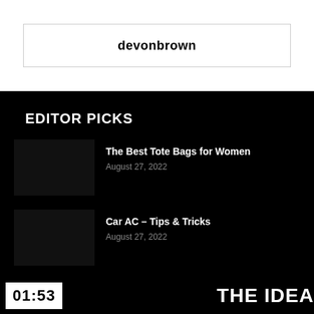devonbrown
EDITOR PICKS
The Best Tote Bags for Women
August 27, 2022
Car AC – Tips & Tricks
August 27, 2022
01:53
THE IDEA